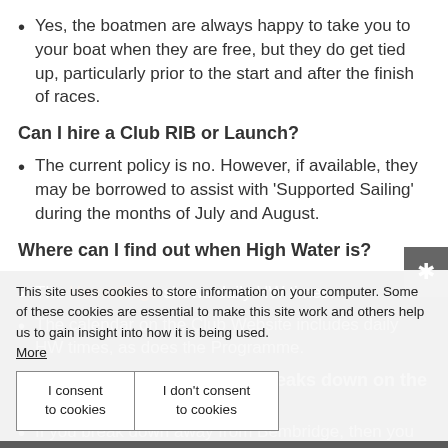Yes, the boatmen are always happy to take you to your boat when they are free, but they do get tied up, particularly prior to the start and after the finish of races.
Can I hire a Club RIB or Launch?
The current policy is no. However, if available, they may be borrowed to assist with 'Supported Sailing' during the months of July and August.
Where can I find out when High Water is?
The Home Page shows daily HW times.
The calendar on the Club Website includes daily HW times, as does the Programme.
What should I do if my boat breaks down on the water?
If you break down away from Bembridge, then you should follow the normal procedures and contact the Coastguard on your VHF radio or mobile phone
Solent Coastguard monitor Ch 67, so unless it is an
This site uses cookies to store information on your computer. Some of these cookies are essential to make this site work and others help us to gain insight into how it is being used.
More
I consent to cookies | I don't consent to cookies